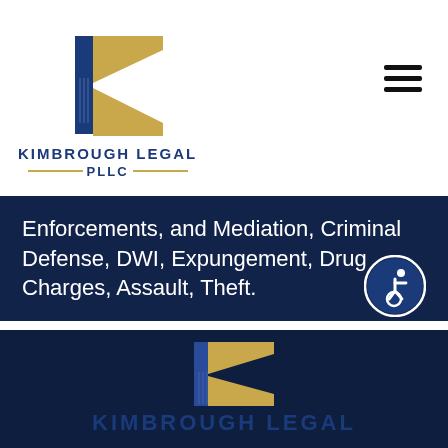[Figure (logo): Kimbrough Legal PLLC logo with stylized K in blue and gold, firm name in blue with gold decorative lines]
Enforcements, and Mediation, Criminal Defense, DWI, Expungement, Drug Charges, Assault, Theft.
[Figure (logo): Kimbrough Legal PLLC logo repeated on dark navy background — large stylized K in blue and gold, firm name KIMBROUGH LEGAL in blue below]